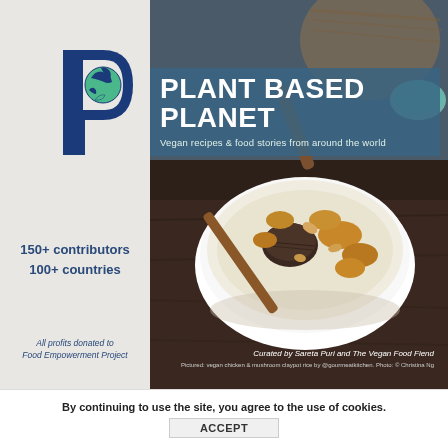[Figure (illustration): Book cover for 'Plant Based Planet' — a vegan recipe book. Left panel is light gray with a large blue 'P' letter logo containing a globe illustration. Text reads '150+ contributors 100+ countries' and 'All profits donated to Food Empowerment Project'. Right side shows a food photograph of a bowl of vegan chicken and mushroom claypot rice. Title overlay in teal/blue reads 'PLANT BASED PLANET' with subtitle 'Vegan recipes & food stories from around the world'. Bottom right credits: 'Curated by Sareta Puri and The Vegan Food Fiend'.]
By continuing to use the site, you agree to the use of cookies.
ACCEPT